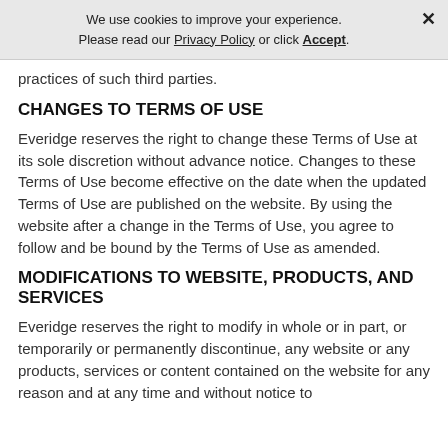We use cookies to improve your experience. Please read our Privacy Policy or click Accept.
practices of such third parties.
CHANGES TO TERMS OF USE
Everidge reserves the right to change these Terms of Use at its sole discretion without advance notice. Changes to these Terms of Use become effective on the date when the updated Terms of Use are published on the website. By using the website after a change in the Terms of Use, you agree to follow and be bound by the Terms of Use as amended.
MODIFICATIONS TO WEBSITE, PRODUCTS, AND SERVICES
Everidge reserves the right to modify in whole or in part, or temporarily or permanently discontinue, any website or any products, services or content contained on the website for any reason and at any time and without notice to